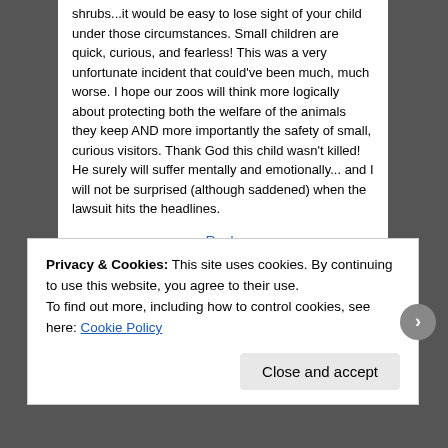shrubs...it would be easy to lose sight of your child under those circumstances. Small children are quick, curious, and fearless! This was a very unfortunate incident that could've been much, much worse. I hope our zoos will think more logically about protecting both the welfare of the animals they keep AND more importantly the safety of small, curious visitors. Thank God this child wasn't killed! He surely will suffer mentally and emotionally... and I will not be surprised (although saddened) when the lawsuit hits the headlines.
Reply
Privacy & Cookies: This site uses cookies. By continuing to use this website, you agree to their use. To find out more, including how to control cookies, see here: Cookie Policy